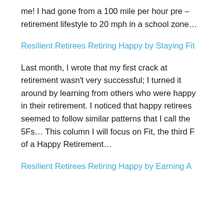me! I had gone from a 100 mile per hour pre – retirement lifestyle to 20 mph in a school zone...
Resilient Retirees Retiring Happy by Staying Fit
Last month, I wrote that my first crack at retirement wasn't very successful; I turned it around by learning from others who were happy in their retirement. I noticed that happy retirees seemed to follow similar patterns that I call the 5Fs... This column I will focus on Fit, the third F of a Happy Retirement...
Resilient Retirees Retiring Happy by Earning A